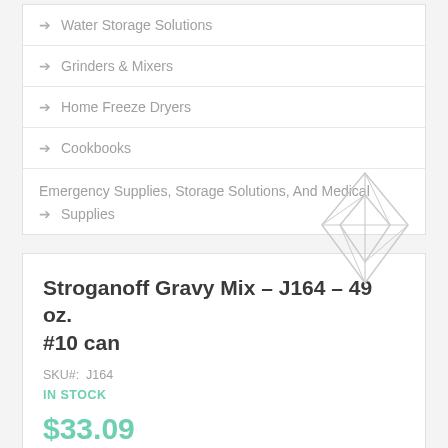→ Water Storage Solutions
→ Grinders & Mixers
→ Home Freeze Dryers
→ Cookbooks
→ Emergency Supplies, Storage Solutions, And Medical Supplies
Stroganoff Gravy Mix – J164 – 49 oz. #10 can
SKU#: J164
IN STOCK
$33.09